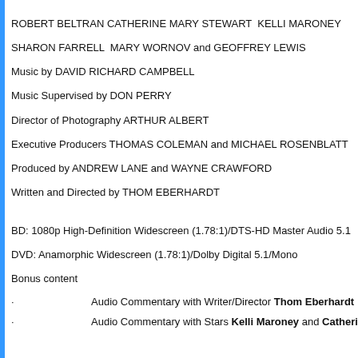ROBERT BELTRAN CATHERINE MARY STEWART  KELLI MARONEY
SHARON FARRELL  MARY WORNOV and GEOFFREY LEWIS
Music by DAVID RICHARD CAMPBELL
Music Supervised by DON PERRY
Director of Photography ARTHUR ALBERT
Executive Producers THOMAS COLEMAN and MICHAEL ROSENBLATT
Produced by ANDREW LANE and WAYNE CRAWFORD
Written and Directed by THOM EBERHARDT
BD: 1080p High-Definition Widescreen (1.78:1)/DTS-HD Master Audio 5.1
DVD: Anamorphic Widescreen (1.78:1)/Dolby Digital 5.1/Mono
Bonus content
·          Audio Commentary with Writer/Director Thom Eberhardt
·          Audio Commentary with Stars Kelli Maroney and Catherine Mary